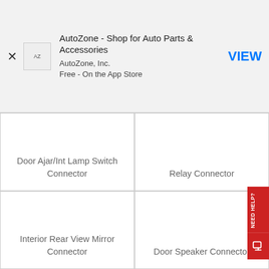[Figure (screenshot): AutoZone app banner with close X button, AZ logo icon, app name, publisher, price, and VIEW button]
Door Ajar/Int Lamp Switch Connector
Relay Connector
Interior Rear View Mirror Connector
Door Speaker Connector